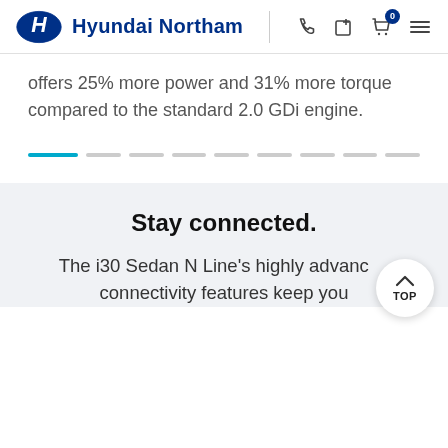Hyundai Northam
offers 25% more power and 31% more torque compared to the standard 2.0 GDi engine.
[Figure (other): Slider navigation dots — one active blue dot followed by 8 grey inactive dots]
Stay connected.
The i30 Sedan N Line's highly advanced connectivity features keep you